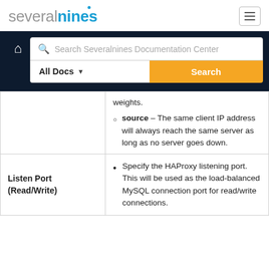severalnines
[Figure (screenshot): Search bar with 'Search Severalnines Documentation Center' placeholder, All Docs dropdown button, and orange Search button, on a dark navy background with home icon]
|  | weights.
source – The same client IP address will always reach the same server as long as no server goes down. |
| Listen Port (Read/Write) | Specify the HAProxy listening port. This will be used as the load-balanced MySQL connection port for read/write connections. |